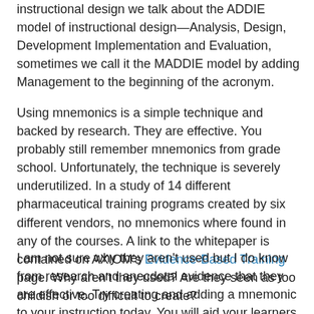instructional design we talk about the ADDIE model of instructional design—Analysis, Design, Development Implementation and Evaluation, sometimes we call it the MADDIE model by adding Management to the beginning of the acronym.
Using mnemonics is a simple technique and backed by research. They are effective. You probably still remember mnemonics from grade school. Unfortunately, the technique is severely underutilized. In a study of 14 different pharmaceutical training programs created by six different vendors, no mnemonics where found in any of the courses. A link to the whitepaper is contained on AXIOM's Evidence-Based Training page. Why aren't they used? Are they seen as too childish or too difficult to create?
I am not sure why they aren't used but I do know from research and anecdotal evidence that they are effective. Try creating and adding a mnemonic to your instruction today. You will aid your learners in recalling key information using a simple, low cost technique that is shown to be effective for recall.